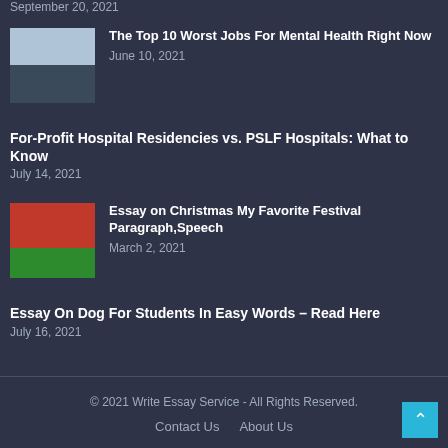September 20, 2021
The Top 10 Worst Jobs For Mental Health Right Now
June 10, 2021
For-Profit Hospital Residencies vs. PSLF Hospitals: What to Know
July 14, 2021
Essay on Christmas My Favorite Festival Paragraph,Speech
March 2, 2021
Essay On Dog For Students In Easy Words – Read Here
July 16, 2021
© 2021 Write Essay Service - All Rights Reserved.
Contact Us   About Us